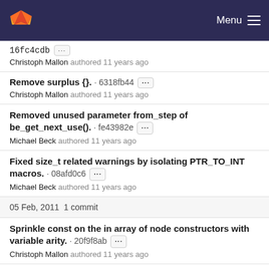Menu
16fc4cdb ··· Christoph Mallon authored 11 years ago
Remove surplus {}. · 6318fb44 ··· Christoph Mallon authored 11 years ago
Removed unused parameter from_step of be_get_next_use(). · fe43982e ··· Michael Beck authored 11 years ago
Fixed size_t related warnings by isolating PTR_TO_INT macros. · 08afd0c6 ··· Michael Beck authored 11 years ago
05 Feb, 2011 1 commit
Sprinkle const on the in array of node constructors with variable arity. · 20f9f8ab ··· Christoph Mallon authored 11 years ago
Imprint